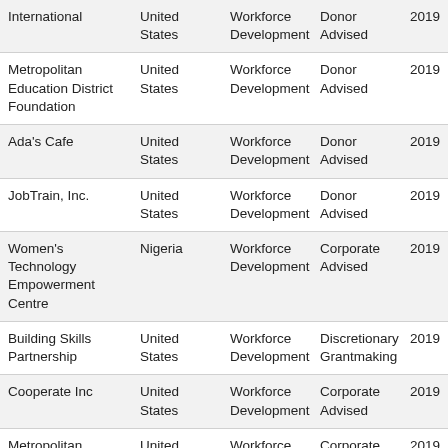| Organization | Country | Category | Type | Year |
| --- | --- | --- | --- | --- |
| International | United States | Workforce Development | Donor Advised | 2019 |
| Metropolitan Education District Foundation | United States | Workforce Development | Donor Advised | 2019 |
| Ada's Cafe | United States | Workforce Development | Donor Advised | 2019 |
| JobTrain, Inc. | United States | Workforce Development | Donor Advised | 2019 |
| Women's Technology Empowerment Centre | Nigeria | Workforce Development | Corporate Advised | 2019 |
| Building Skills Partnership | United States | Workforce Development | Discretionary Grantmaking | 2019 |
| Cooperate Inc | United States | Workforce Development | Corporate Advised | 2019 |
| Metropolitan Education District Foundation | United States | Workforce Development | Corporate Advised | 2019 |